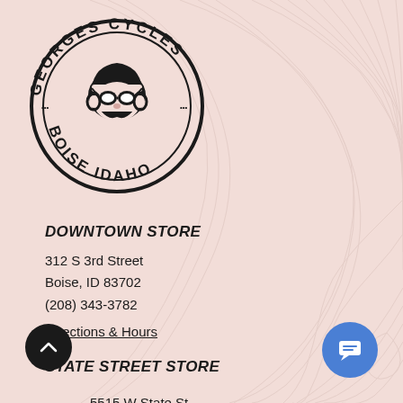[Figure (logo): Georges Cycles Boise Idaho circular logo with cartoon cyclist character in the center wearing goggles and helmet]
DOWNTOWN STORE
312 S 3rd Street
Boise, ID 83702
(208) 343-3782
Directions & Hours
STATE STREET STORE
5515 W State St
Boise, ID  83703
(208) 853-1964